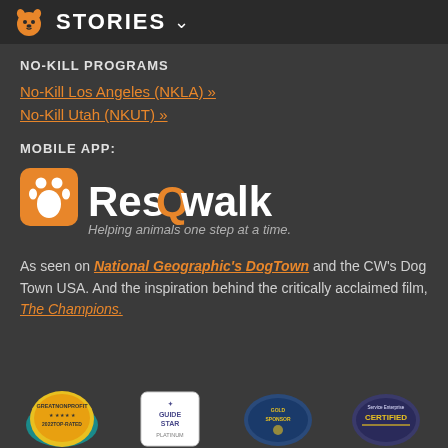STORIES
NO-KILL PROGRAMS
No-Kill Los Angeles (NKLA) »
No-Kill Utah (NKUT) »
MOBILE APP:
[Figure (logo): ResQwalk logo with paw print icon and tagline 'Helping animals one step at a time.']
As seen on National Geographic's DogTown and the CW's Dog Town USA. And the inspiration behind the critically acclaimed film, The Champions.
[Figure (logo): Four certification/award badges: 2022 Top-Rated Nonprofit, GuideStar Platinum, Gold Sponsor badge, Service Enterprise Certified]